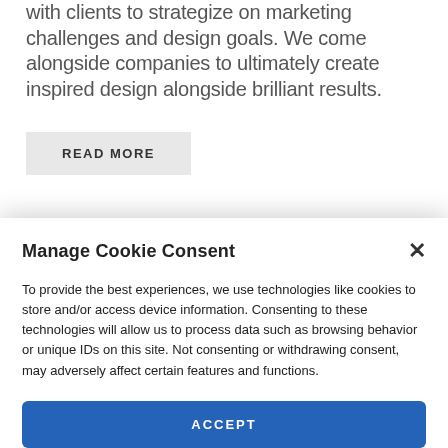with clients to strategize on marketing challenges and design goals. We come alongside companies to ultimately create inspired design alongside brilliant results.
READ MORE
Manage Cookie Consent
To provide the best experiences, we use technologies like cookies to store and/or access device information. Consenting to these technologies will allow us to process data such as browsing behavior or unique IDs on this site. Not consenting or withdrawing consent, may adversely affect certain features and functions.
ACCEPT